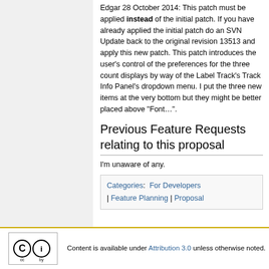Edgar 28 October 2014: This patch must be applied instead of the initial patch. If you have already applied the initial patch do an SVN Update back to the original revision 13513 and apply this new patch. This patch introduces the user's control of the preferences for the three count displays by way of the Label Track's Track Info Panel's dropdown menu. I put the three new items at the very bottom but they might be better placed above "Font...".
Previous Feature Requests relating to this proposal
I'm unaware of any.
Categories: For Developers | Feature Planning | Proposal
Content is available under Attribution 3.0 unless otherwise noted.